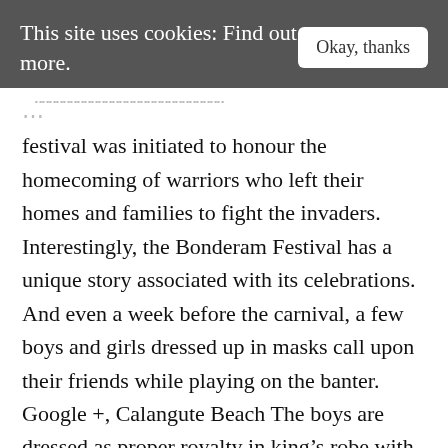This site uses cookies: Find out more. | Okay, thanks
festival was initiated to honour the homecoming of warriors who left their homes and families to fight the invaders. Interestingly, the Bonderam Festival has a unique story associated with its celebrations. And even a week before the carnival, a few boys and girls dressed up in masks call upon their friends while playing on the banter. Google +, Calangute Beach The boys are dressed as proper royalty in king’s robe with jewellery, crowns and gifts of gold frankincense and myrrh. Home; Blog; Acts; Top100; Facebook; Goa // Psytrance // Trance, Legend As per